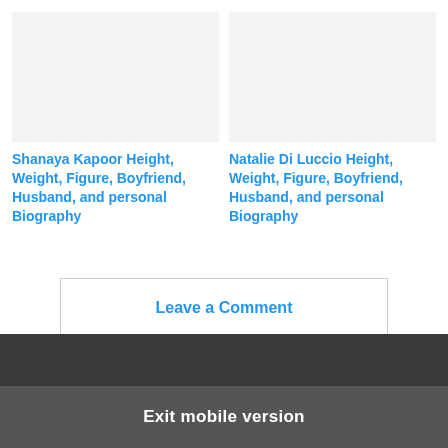[Figure (photo): Placeholder image for Shanaya Kapoor article, light gray background]
[Figure (photo): Placeholder image for Natalie Di Luccio article, light gray background]
Shanaya Kapoor Height, Weight, Figure, Boyfriend, Husband, and personal Biography
Natalie Di Luccio Height, Weight, Figure, Boyfriend, Husband, and personal Biography
Leave a Comment
Exit mobile version